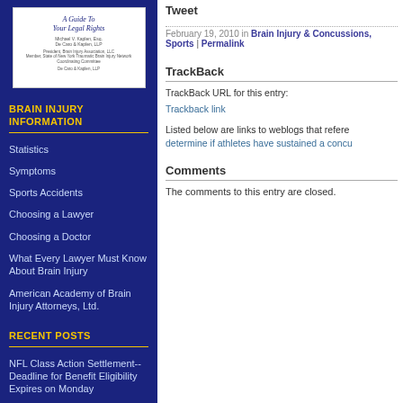[Figure (illustration): Book cover: 'A Guide To Your Legal Rights' with author name and law firm details]
BRAIN INJURY INFORMATION
Statistics
Symptoms
Sports Accidents
Choosing a Lawyer
Choosing a Doctor
What Every Lawyer Must Know About Brain Injury
American Academy of Brain Injury Attorneys, Ltd.
RECENT POSTS
NFL Class Action Settlement--Deadline for Benefit Eligibility Expires on Monday
Tweet
February 19, 2010 in Brain Injury & Concussions, Sports | Permalink
TrackBack
TrackBack URL for this entry:
Trackback link
Listed below are links to weblogs that refer... determine if athletes have sustained a concu...
Comments
The comments to this entry are closed.